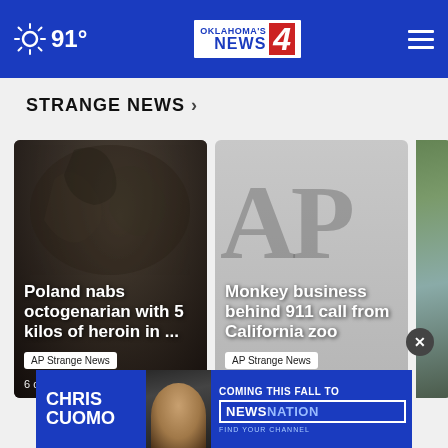91° Oklahoma's News 4
STRANGE NEWS ›
[Figure (photo): Card 1: Close-up dark photo of animal claws/feathers with gloves. Headline: Poland nabs octogenarian with 5 kilos of heroin in... Tag: AP Strange News. Time: 6 days ago]
[Figure (photo): Card 2: AP logo placeholder grey background. Headline: Monkey business behind 911 call from California zoo. Tag: AP Strange News. Time: 1 week ago]
[Figure (photo): Card 3 (partially visible): Outdoor photo with people. Headline: Boston [boat co rescue o strande groom]. Tag: AP Strange Ne. Time: 1 week ago]
[Figure (photo): Ad banner: Chris Cuomo Coming This Fall to NewsNation Find Your Channel]